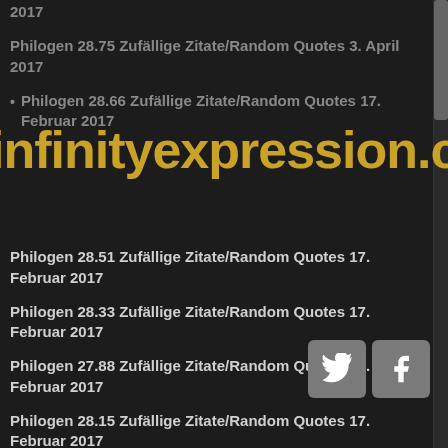2017
Philogen 28.75 Zufällige Zitate/Random Quotes 3. April 2017
Philogen 28.66 Zufällige Zitate/Random Quotes 17. Februar 2017
[Figure (other): infinityexpression.com watermark overlay text in gold/orange color]
Philogen 28.51 Zufällige Zitate/Random Quotes 17. Februar 2017
Philogen 28.33 Zufällige Zitate/Random Quotes 17. Februar 2017
Philogen 27.88 Zufällige Zitate/Random Quotes 17. Februar 2017
Philogen 28.15 Zufällige Zitate/Random Quotes 17. Februar 2017
Philogen 28.01 Zufällige Zitate/Random Quotes 17. Februar 2017
Philogen 27.75 Zufällige Zitate/Random Quotes 17. Februar 2017
Philogen 27.51 Zufällige Zitate/Random Quotes 17. Februar 2017
Philogen 27.27 Zufällige Zitate/Random Quotes 17. Februar